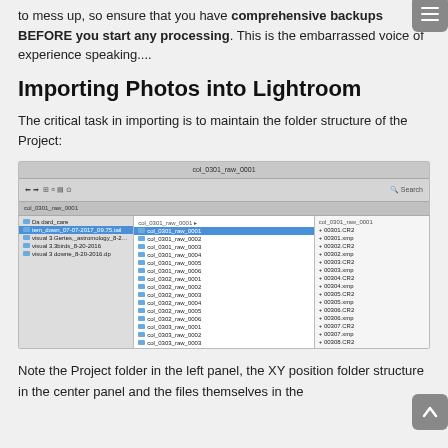to mess up, so ensure that you have comprehensive backups BEFORE you start any processing.  This is the embarrassed voice of experience speaking....
Importing Photos into Lightroom
The critical task in importing is to maintain the folder structure of the Project:
[Figure (screenshot): Mac Finder window showing folder structure with col_0301_raw_0001 highlighted in center panel, left panel showing project folders, right panel showing CR2 and xmp files.]
Note the Project folder in the left panel, the XY position folder structure in the center panel and the files themselves in the